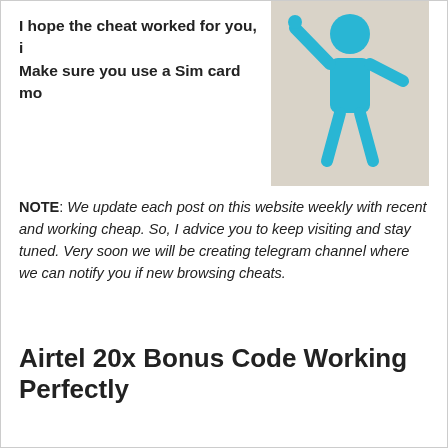I hope the cheat worked for you, i... Make sure you use a Sim card mo... d.
[Figure (illustration): Blue stick figure illustration of a person waving, on a beige/tan background]
NOTE: We update each post on this website weekly with recent and working cheap. So, I advice you to keep visiting and stay tuned. Very soon we will be creating telegram channel where we can notify you if new browsing cheats.
Airtel 20x Bonus Code Working Perfectly